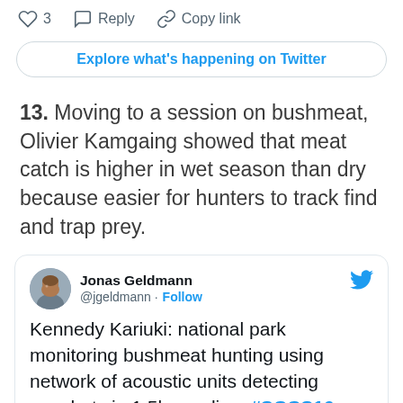[Figure (screenshot): Twitter interaction bar with heart icon showing 3 likes, Reply button, and Copy link button]
[Figure (screenshot): Explore what's happening on Twitter button]
13. Moving to a session on bushmeat, Olivier Kamgaing showed that meat catch is higher in wet season than dry because easier for hunters to track find and trap prey.
[Figure (screenshot): Tweet by Jonas Geldmann (@jgeldmann) saying: Kennedy Kariuki: national park monitoring bushmeat hunting using network of acoustic units detecting gunshots in 1.5km radius #SCCS16. Posted at 4:45 PM · Mar 22, 2016]